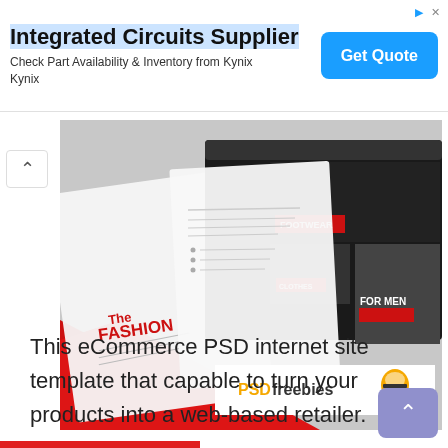[Figure (infographic): Advertisement banner: Integrated Circuits Supplier – Check Part Availability & Inventory from Kynix Kynix, with a blue Get Quote button and ad icons top right.]
[Figure (screenshot): Fashion eCommerce website PSD template mockup showing tablet and monitor displays with red, black and white design, labeled The FASHION, with sections for Footwear, Clothes, For Men. PSDfreebies logo in bottom right.]
This eCommerce PSD internet site template that capable to turn your products into a web-based retailer.